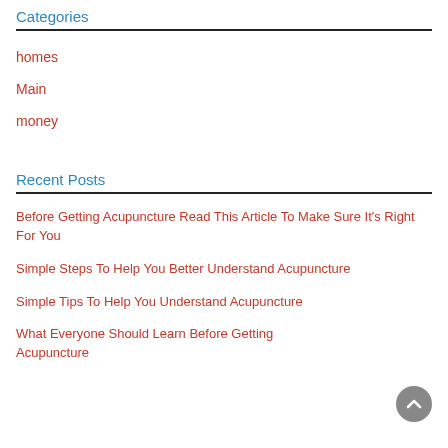Categories
homes
Main
money
Recent Posts
Before Getting Acupuncture Read This Article To Make Sure It's Right For You
Simple Steps To Help You Better Understand Acupuncture
Simple Tips To Help You Understand Acupuncture
What Everyone Should Learn Before Getting Acupuncture